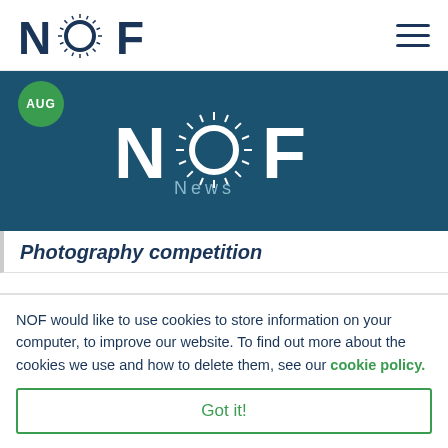[Figure (logo): NOF logo with stylized sunburst O, dark navy blue text]
[Figure (photo): NOF News banner on dark teal background with AUG green circle badge and white NOF logo with sunburst O, subtitle 'News']
Photography competition
NOF would like to use cookies to store information on your computer, to improve our website. To find out more about the cookies we use and how to delete them, see our cookie policy.
Got it!